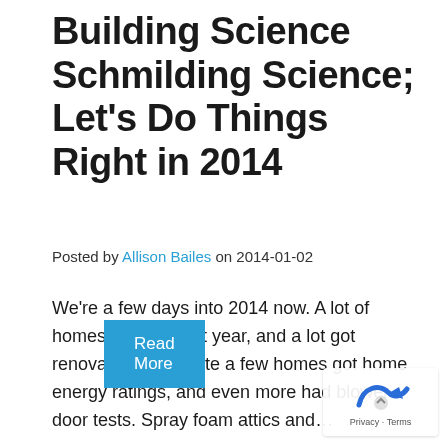Building Science Schmilding Science; Let's Do Things Right in 2014
Posted by Allison Bailes on 2014-01-02
We're a few days into 2014 now. A lot of homes got built last year, and a lot got renovated, too. Quite a few homes got home energy ratings, and even more had blower door tests. Spray foam attics and…
Read More